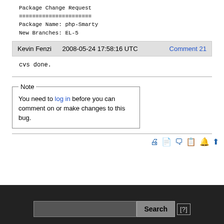Package Change Request
======================
Package Name: php-Smarty
New Branches: EL-5
Kevin Fenzi    2008-05-24 17:58:16 UTC    Comment 21
cvs done.
Note
You need to log in before you can comment on or make changes to this bug.
Search [?]